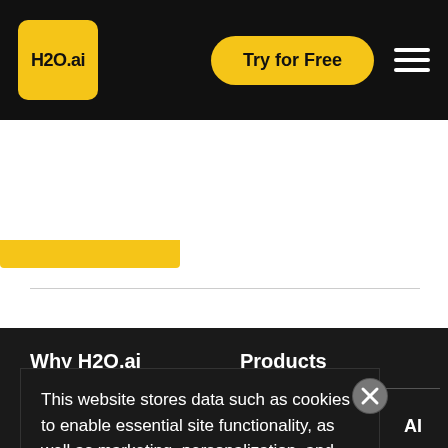H2O.ai — Try for Free
Why H2O.ai
Products
This website stores data such as cookies to enable essential site functionality, as well as marketing, personalization, and analytics. By remaining on this website you indicate your consent.

Privacy Policy